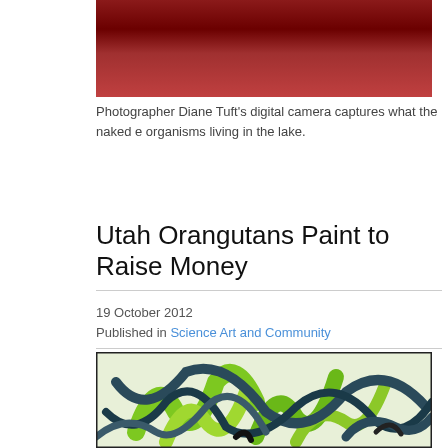[Figure (photo): Partial view of a reddish-dark abstract or aerial photograph, cropped at top]
Photographer Diane Tuft's digital camera captures what the naked e organisms living in the lake.
Utah Orangutans Paint to Raise Money
19 October 2012
Published in Science Art and Community
[Figure (photo): Colorful abstract painting with bold green and dark teal/navy brushstrokes on white background, resembling orangutan-made art]